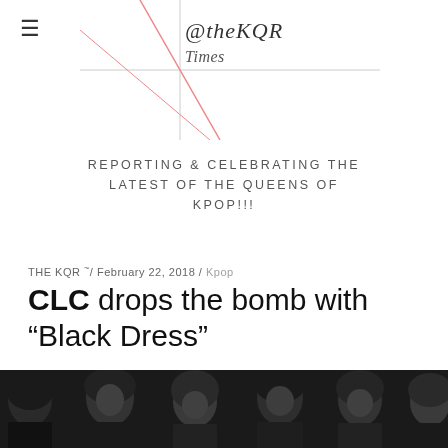@theKQR [handwritten logo/header with grid lines]
REPORTING & CELEBRATING THE LATEST OF THE QUEENS OF KPOP!!!
THE KQR ~ / February 22, 2018 / Kpop
CLC drops the bomb with “Black Dress”
[Figure (photo): Black and white photo of CLC K-pop girl group members wearing black outfits, posing together against a white background.]